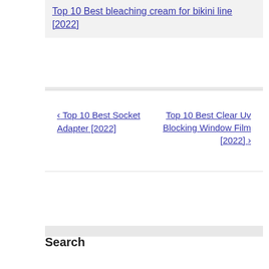Top 10 Best bleaching cream for bikini line [2022]
‹ Top 10 Best Socket Adapter [2022]
Top 10 Best Clear Uv Blocking Window Film [2022] ›
Search